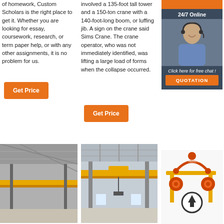of homework, Custom Scholars is the right place to get it. Whether you are looking for essay, coursework, research, or term paper help, or with any other assignments, it is no problem for us.
[Figure (illustration): Orange 'Get Price' button]
involved a 135-foot tall tower and a 150-ton crane with a 140-foot-long boom, or luffing jib. A sign on the crane said Sims Crane. The crane operator, who was not immediately identified, was lifting a large load of forms when the collapse occurred.
[Figure (illustration): Orange 'Get Price' button]
[Figure (illustration): Advertisement box with '24/7 Online' label, photo of woman with headset, 'Click here for free chat!' and 'QUOTATION' button]
[Figure (photo): Interior of industrial building with overhead yellow crane bridge rail visible]
[Figure (photo): Interior of factory/warehouse with overhead yellow crane system]
[Figure (illustration): Illustration of orange overhead crane with machinery components and an upload/arrow icon]